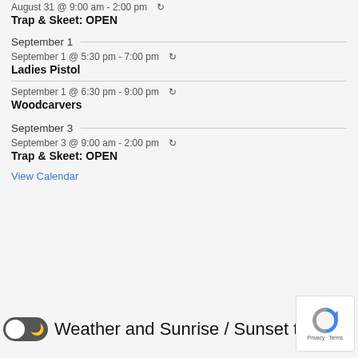August 31 @ 9:00 am - 2:00 pm ↻
Trap & Skeet: OPEN
September 1
September 1 @ 5:30 pm - 7:00 pm ↻
Ladies Pistol
September 1 @ 6:30 pm - 9:00 pm ↻
Woodcarvers
September 3
September 3 @ 9:00 am - 2:00 pm ↻
Trap & Skeet: OPEN
View Calendar
Weather and Sunrise / Sunset times